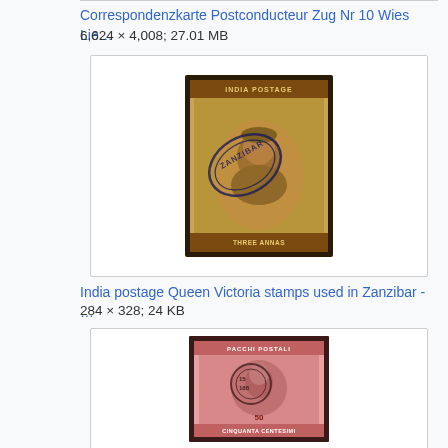Correspondenzkarte Postconducteur Zug Nr 10 Wies Lie…
6,624 × 4,008; 27.01 MB
[Figure (photo): India postage Queen Victoria stamp used in Zanzibar, yellow-brown color with 'INDIA POSTAGE' text and 'THREE ANNAS' value, with Zanzibar cancellation postmark]
India postage Queen Victoria stamps used in Zanzibar - …
284 × 328; 24 KB
[Figure (photo): Italian stamp, pink/red color with portrait and 'PACCHI POSTALI' text, 50 CENTESIMI value, with circular cancellation postmark]